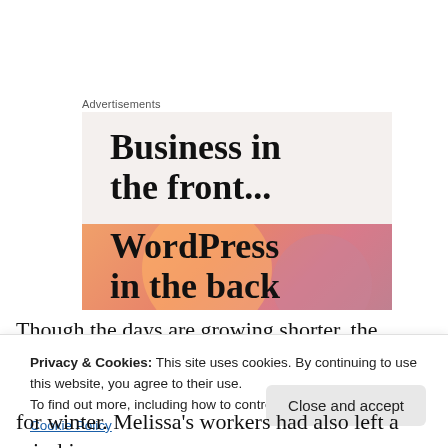Advertisements
[Figure (illustration): WordPress advertisement image. Top half: light beige background with bold black serif text 'Business in the front...'. Bottom half: orange/pink gradient background with decorative circular shapes and bold black serif text 'WordPress in the back'.]
Though the days are growing shorter, the autumn has
Privacy & Cookies: This site uses cookies. By continuing to use this website, you agree to their use.
To find out more, including how to control cookies, see here: Cookie Policy
for winter. Melissa's workers had also left a mischievous